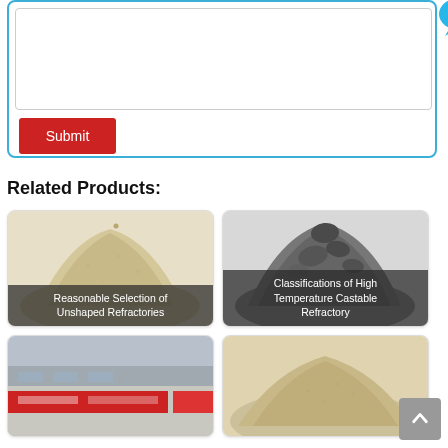[Figure (screenshot): Web form area with a text area input box and a red Submit button, inside a blue-bordered rounded rectangle. A chat bubble icon with a smiley face and X button appears in the top-right corner.]
Related Products:
[Figure (photo): Product card showing a pile of light beige/tan powder (unshaped refractory material) with label 'Reasonable Selection of Unshaped Refractories']
[Figure (photo): Product card showing a pile of dark gray granular material (high temperature castable refractory) with label 'Classifications of High Temperature Castable Refractory']
[Figure (photo): Product card (partially visible) showing a building exterior with Chinese text signage]
[Figure (photo): Product card (partially visible) showing a pile of light tan/beige powder material]